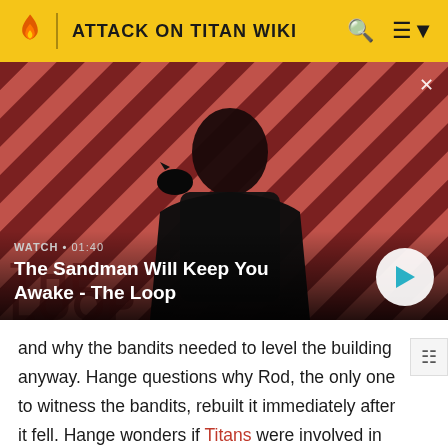ATTACK ON TITAN WIKI
[Figure (screenshot): Video thumbnail showing a man in dark clothing with a raven on his shoulder against a red diagonal striped background. Shows 'The Sandman Will Keep You Awake - The Loop' with watch time 01:40 and a play button.]
and why the bandits needed to level the building anyway. Hange questions why Rod, the only one to witness the bandits, rebuilt it immediately after it fell. Hange wonders if Titans were involved in the situation, and say that any suspicious situation such as that is worth looking into.